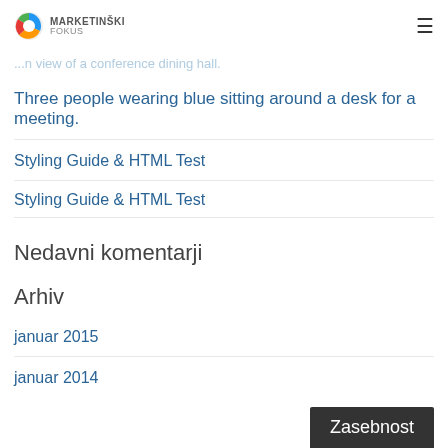MARKETINŠKI fokus
...n view of a conference dining hall.
Three people wearing blue sitting around a desk for a meeting.
Styling Guide & HTML Test
Styling Guide & HTML Test
Nedavni komentarji
Arhiv
januar 2015
januar 2014
Zasebnost